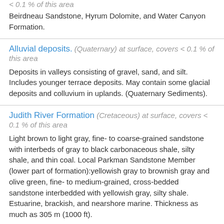< 0.1 % of this area
Beirdneau Sandstone, Hyrum Dolomite, and Water Canyon Formation.
Alluvial deposits. (Quaternary) at surface, covers < 0.1 % of this area
Deposits in valleys consisting of gravel, sand, and silt. Includes younger terrace deposits. May contain some glacial deposits and colluvium in uplands. (Quaternary Sediments).
Judith River Formation (Cretaceous) at surface, covers < 0.1 % of this area
Light brown to light gray, fine- to coarse-grained sandstone with interbeds of gray to black carbonaceous shale, silty shale, and thin coal. Local Parkman Sandstone Member (lower part of formation):yellowish gray to brownish gray and olive green, fine- to medium-grained, cross-bedded sandstone interbedded with yellowish gray, silty shale. Estuarine, brackish, and nearshore marine. Thickness as much as 305 m (1000 ft).
Phosphoria Formation (Permian) at surface, covers < 0.1 % of this area